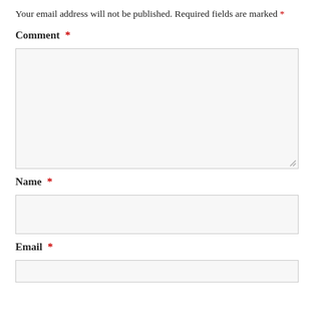Your email address will not be published. Required fields are marked *
Comment *
[Figure (other): Large comment text input box with resize handle]
Name *
[Figure (other): Name text input box]
Email *
[Figure (other): Email text input box (partially visible)]